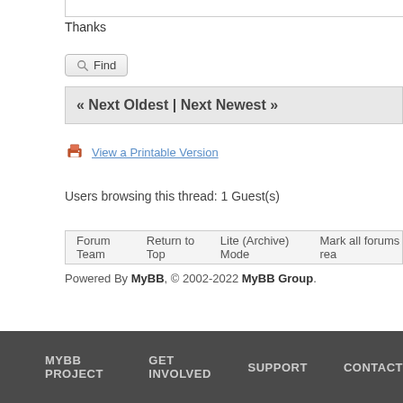Thanks
Find
« Next Oldest | Next Newest »
View a Printable Version
Users browsing this thread: 1 Guest(s)
Forum Team  Return to Top  Lite (Archive) Mode  Mark all forums rea
Powered By MyBB, © 2002-2022 MyBB Group.
MYBB PROJECT  GET INVOLVED  SUPPORT  CONTACT